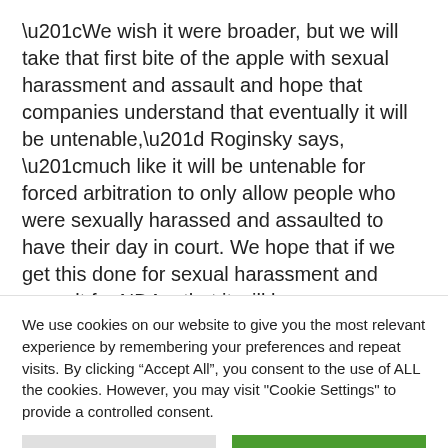“We wish it were broader, but we will take that first bite of the apple with sexual harassment and assault and hope that companies understand that eventually it will be untenable,” Roginsky says, “much like it will be untenable for forced arbitration to only allow people who were sexually harassed and assaulted to have their day in court. We hope that if we get this done for sexual harassment and assault for NDAs, that it will become a domino effect for
We use cookies on our website to give you the most relevant experience by remembering your preferences and repeat visits. By clicking “Accept All”, you consent to the use of ALL the cookies. However, you may visit "Cookie Settings" to provide a controlled consent.